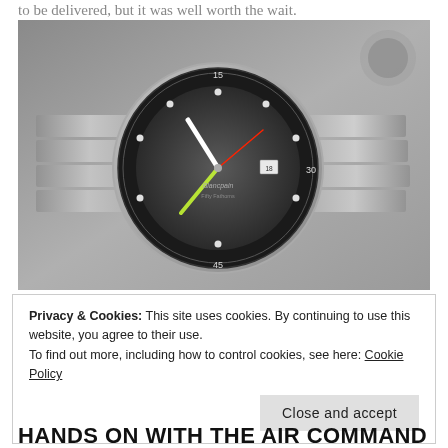to be delivered, but it was well worth the wait.
[Figure (photo): A Blancpain Fifty Fathoms dive watch with stainless steel bracelet, dark grey dial with dot indices, black bezel with minute markers, shown resting on a grey metallic surface.]
Privacy & Cookies: This site uses cookies. By continuing to use this website, you agree to their use.
To find out more, including how to control cookies, see here: Cookie Policy
HANDS ON WITH THE AIR COMMAND